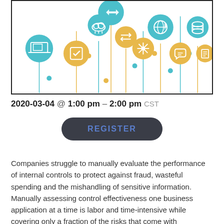[Figure (illustration): Decorative infographic illustration showing various technology icons (cloud, database, network, shield, snowflake, chat bubble, globe, laptop) on lollipop stems in teal and gold colors against a white background, enclosed in a black border.]
2020-03-04 @ 1:00 pm – 2:00 pm CST
REGISTER
Companies struggle to manually evaluate the performance of internal controls to protect against fraud, wasteful spending and the mishandling of sensitive information. Manually assessing control effectiveness one business application at a time is labor and time-intensive while covering only a fraction of the risks that come with increasing use and complexity...